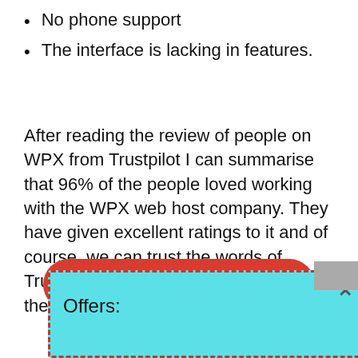No phone support
The interface is lacking in features.
After reading the review of people on WPX from Trustpilot I can summarise that 96% of the people loved working with the WPX web host company. They have given excellent ratings to it and of course, we can trust the words of Trustpilot. So if you want to go for WPX then yes you should go for it.
[Figure (screenshot): A red rounded button partially visible at the bottom, overlaid by a cyan/teal popup box with dashed red border containing 'Offers:' text and an X close button, and a gray block in the top-right corner of the popup area.]